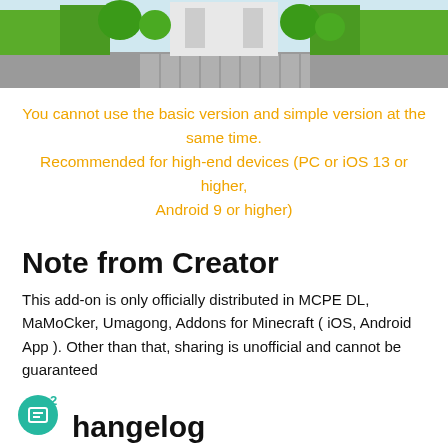[Figure (photo): Screenshot of a Minecraft-style garden scene with green hedges, stone path, and white structures]
You cannot use the basic version and simple version at the same time.
Recommended for high-end devices (PC or iOS 13 or higher, Android 9 or higher)
Note from Creator
This add-on is only officially distributed in MCPE DL, MaMoCker, Umagong, Addons for Minecraft ( iOS, Android App ). Other than that, sharing is unofficial and cannot be guaranteed
Changelog